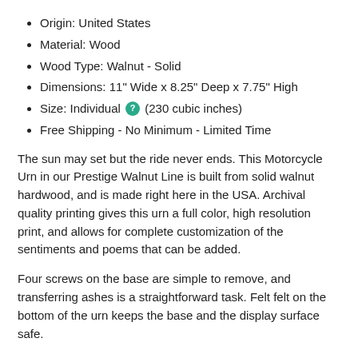Origin: United States
Material: Wood
Wood Type: Walnut - Solid
Dimensions: 11" Wide x 8.25" Deep x 7.75" High
Size: Individual [?] (230 cubic inches)
Free Shipping - No Minimum - Limited Time
The sun may set but the ride never ends. This Motorcycle Urn in our Prestige Walnut Line is built from solid walnut hardwood, and is made right here in the USA. Archival quality printing gives this urn a full color, high resolution print, and allows for complete customization of the sentiments and poems that can be added.
Four screws on the base are simple to remove, and transferring ashes is a straightforward task. Felt felt on the bottom of the urn keeps the base and the display surface safe.
Many sites charge more for urns that look similar in touched